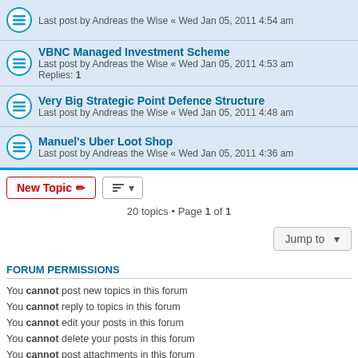Last post by Andreas the Wise « Wed Jan 05, 2011 4:54 am
VBNC Managed Investment Scheme
Last post by Andreas the Wise « Wed Jan 05, 2011 4:53 am
Replies: 1
Very Big Strategic Point Defence Structure
Last post by Andreas the Wise « Wed Jan 05, 2011 4:48 am
Manuel's Uber Loot Shop
Last post by Andreas the Wise « Wed Jan 05, 2011 4:36 am
20 topics • Page 1 of 1
FORUM PERMISSIONS
You cannot post new topics in this forum
You cannot reply to topics in this forum
You cannot edit your posts in this forum
You cannot delete your posts in this forum
You cannot post attachments in this forum
Board index   Contact us   Delete cookies   All times are UTC
Powered by phpBB® Forum Software © phpBB Limited
Privacy | Terms